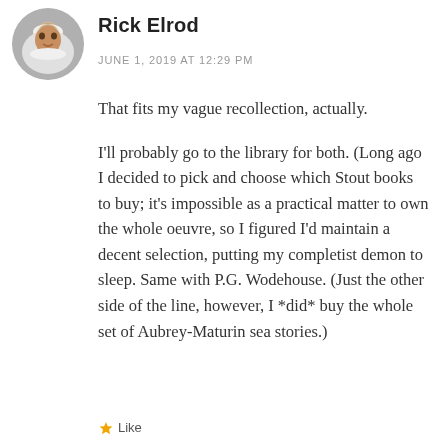[Figure (photo): Circular avatar photo of Rick Elrod, a man with white beard and gray hair, smiling]
Rick Elrod
JUNE 1, 2019 AT 12:29 PM
That fits my vague recollection, actually.
I'll probably go to the library for both. (Long ago I decided to pick and choose which Stout books to buy; it's impossible as a practical matter to own the whole oeuvre, so I figured I'd maintain a decent selection, putting my completist demon to sleep. Same with P.G. Wodehouse. (Just the other side of the line, however, I *did* buy the whole set of Aubrey-Maturin sea stories.)
Like